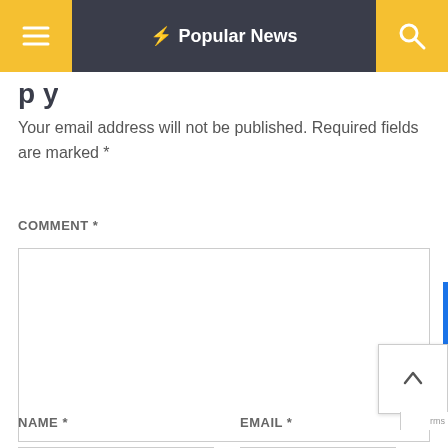Popular News
Your email address will not be published. Required fields are marked *
COMMENT *
NAME *
EMAIL *